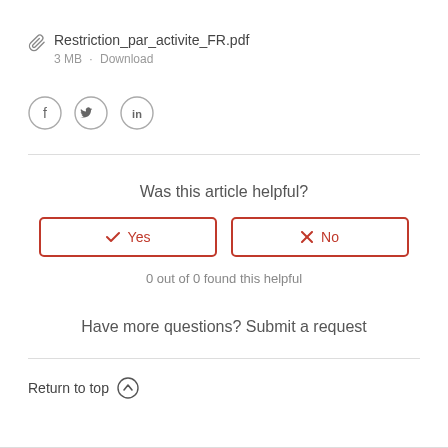📎 Restriction_par_activite_FR.pdf
3 MB · Download
[Figure (other): Social media share icons: Facebook, Twitter, LinkedIn in circles]
Was this article helpful?
✓ Yes   ✗ No
0 out of 0 found this helpful
Have more questions? Submit a request
Return to top ↑